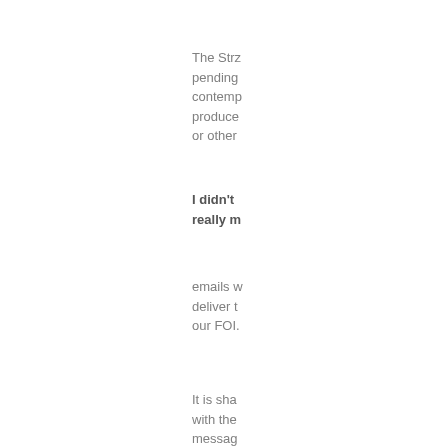The Strz pending contemp produce or other
I didn't really m
emails w deliver t our FOI.
It is sha with the messag when w